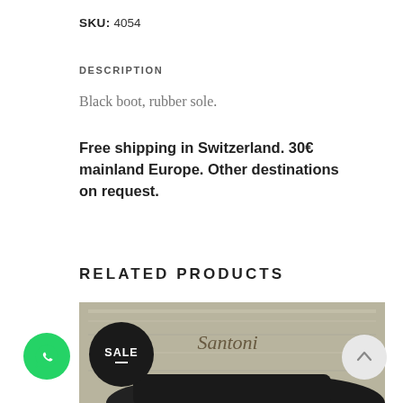SKU: 4054
DESCRIPTION
Black boot, rubber sole.
Free shipping in Switzerland. 30€ mainland Europe. Other destinations on request.
RELATED PRODUCTS
[Figure (photo): Product photo showing black shoes with a Santoni branded box, with a SALE badge overlay]
[Figure (logo): WhatsApp circular green button icon]
[Figure (other): Scroll to top circular button with upward arrow]